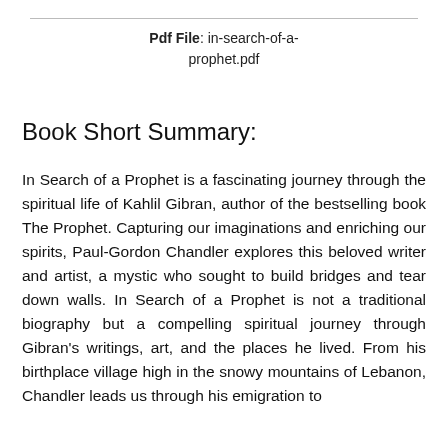Pdf File: in-search-of-a-prophet.pdf
Book Short Summary:
In Search of a Prophet is a fascinating journey through the spiritual life of Kahlil Gibran, author of the bestselling book The Prophet. Capturing our imaginations and enriching our spirits, Paul-Gordon Chandler explores this beloved writer and artist, a mystic who sought to build bridges and tear down walls. In Search of a Prophet is not a traditional biography but a compelling spiritual journey through Gibran’s writings, art, and the places he lived. From his birthplace village high in the snowy mountains of Lebanon, Chandler leads us through his emigration to